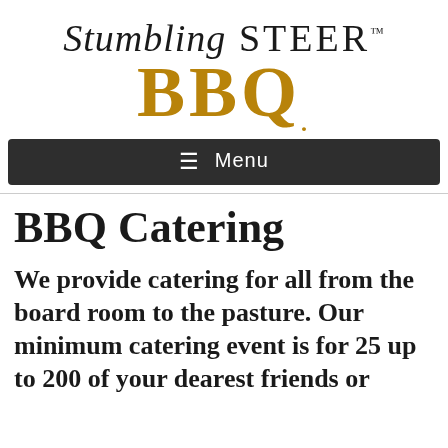[Figure (logo): Stumbling Steer BBQ logo with stylized text. 'Stumbling' in italic serif, 'STEER' in small-caps serif with trademark symbol, and 'BBQ' in large bold golden/brown letters below.]
☰ Menu
BBQ Catering
We provide catering for all from the board room to the pasture. Our minimum catering event is for 25 up to 200 of your dearest friends or